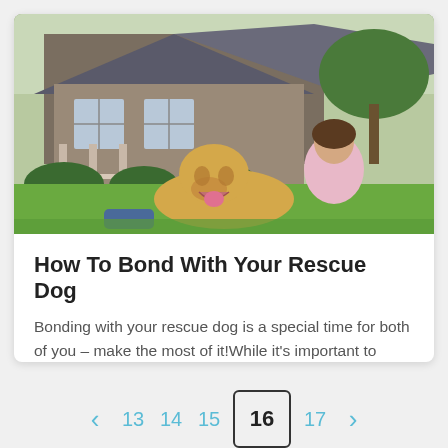[Figure (photo): A woman in a pink shirt sitting on a green lawn with a golden retriever dog, in front of a brick house with a porch and trees.]
How To Bond With Your Rescue Dog
Bonding with your rescue dog is a special time for both of you – make the most of it!While it's important to bond with your dog, no matter how he came into y...
< 13 14 15 16 17 >